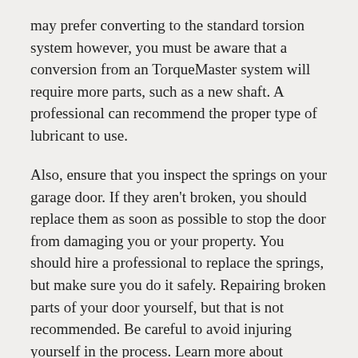may prefer converting to the standard torsion system however, you must be aware that a conversion from an TorqueMaster system will require more parts, such as a new shaft. A professional can recommend the proper type of lubricant to use.
Also, ensure that you inspect the springs on your garage door. If they aren't broken, you should replace them as soon as possible to stop the door from damaging you or your property. You should hire a professional to replace the springs, but make sure you do it safely. Repairing broken parts of your door yourself, but that is not recommended. Be careful to avoid injuring yourself in the process. Learn more about Garage Door Guys here.
If the springs are broken Replace them. This will